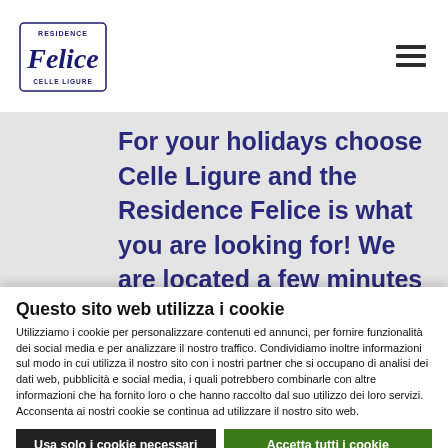[Figure (logo): Residence Felice Celle Ligure logo with cursive script]
For your holidays choose Celle Ligure and the Residence Felice is what you are looking for! We are located a few minutes walk from the center of Celle Ligure in the middle of the Ligurian Riviera, a resort with a pleasant Mediterranean climate
Questo sito web utilizza i cookie
Utilizziamo i cookie per personalizzare contenuti ed annunci, per fornire funzionalità dei social media e per analizzare il nostro traffico. Condividiamo inoltre informazioni sul modo in cui utilizza il nostro sito con i nostri partner che si occupano di analisi dei dati web, pubblicità e social media, i quali potrebbero combinarle con altre informazioni che ha fornito loro o che hanno raccolto dal suo utilizzo dei loro servizi. Acconsenta ai nostri cookie se continua ad utilizzare il nostro sito web.
Usa solo i cookie necessari
Accetta tutti i cookie
Mostra dettagli